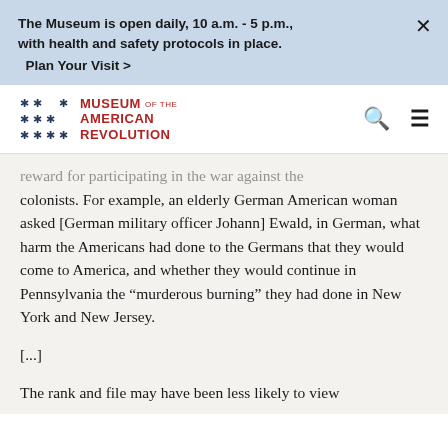The Museum is open daily, 10 a.m. - 5 p.m., with health and safety protocols in place. Plan Your Visit >
[Figure (logo): Museum of the American Revolution logo with star grid and red text]
...reward for participating in the war against the colonists. For example, an elderly German American woman asked [German military officer Johann] Ewald, in German, what harm the Americans had done to the Germans that they would come to America, and whether they would continue in Pennsylvania the “murderous burning” they had done in New York and New Jersey.
[...]
The rank and file may have been less likely to view